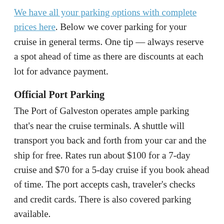We have all your parking options with complete prices here. Below we cover parking for your cruise in general terms. One tip — always reserve a spot ahead of time as there are discounts at each lot for advance payment.
Official Port Parking
The Port of Galveston operates ample parking that's near the cruise terminals. A shuttle will transport you back and forth from your car and the ship for free. Rates run about $100 for a 7-day cruise and $70 for a 5-day cruise if you book ahead of time. The port accepts cash, traveler's checks and credit cards. There is also covered parking available.